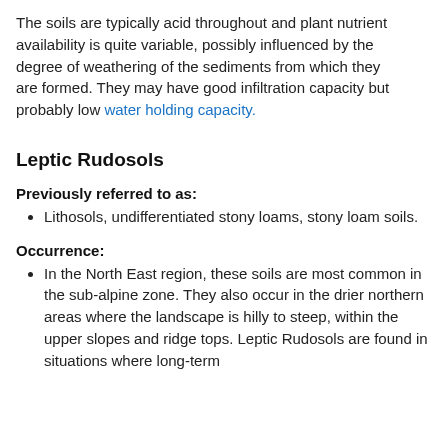The soils are typically acid throughout and plant nutrient availability is quite variable, possibly influenced by the degree of weathering of the sediments from which they are formed. They may have good infiltration capacity but probably low water holding capacity.
Leptic Rudosols
Previously referred to as:
Lithosols, undifferentiated stony loams, stony loam soils.
Occurrence:
In the North East region, these soils are most common in the sub-alpine zone. They also occur in the drier northern areas where the landscape is hilly to steep, within the upper slopes and ridge tops. Leptic Rudosols are found in situations where long-term